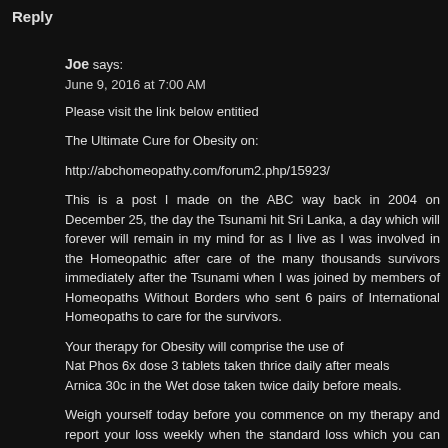Reply
Joe says:
June 9, 2016 at 7:00 AM
Please visit the link below entitied
The Ultimate Cure for Obesity on:
http://abchomeopathy.com/forum2.php/15923/
This is a post I made on the ABC way back in 2004 on December 25, the day the Tsunami hit Sri Lanka, a day which will forever will remain in my mind for as I live as I was involved in the Homeopathic after care of the many thousands survivors immediately after the Tsunami when I was joined by members of Homeopaths Without Borders who sent 6 pairs of International Homeopaths to care for the survivors.
Your therapy for Obesity will comprise the use of
Nat Phos 6x dose 3 tablets taken thrice daily after meals
Arnica 30c in the Wet dose taken twice daily before meals.
Weigh yourself today before you commence on my therapy and report your loss weekly when the standard loss which you can expect and has been reported around 1kg per week.
You will also do a regular stint of at least 45 minutes of exercise which will be at you at intensive levels, irrespective of the general feeling of tiredness that you experience, if you wish to benefit from my Joepathy.